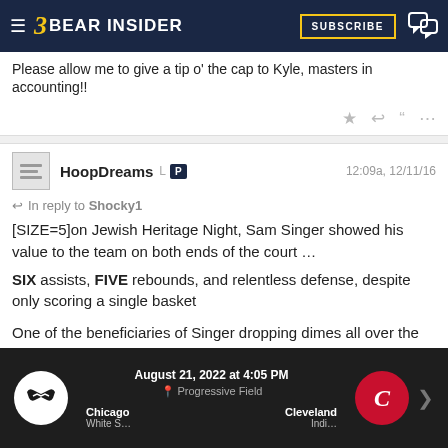Bear Insider
Please allow me to give a tip o' the cap to Kyle, masters in accounting!!
HoopDreams L [P] 12:09a, 12/11/16
In reply to Shocky1
[SIZE=5]on Jewish Heritage Night, Sam Singer showed his value to the team on both ends of the court ...
SIX assists, FIVE rebounds, and relentless defense, despite only scoring a single basket

One of the beneficiaries of Singer dropping dimes all over the court was Grant Mullins who shot 6-7 from the field, including 3-4 from deep (plus added 4 boards and an assist himself)[/SIZE]
[Figure (photo): Image placeholder thumbnail]
[Figure (infographic): Chicago White Sox vs Cleveland advertisement — August 21, 2022 at 4:05 PM, Progressive Field]